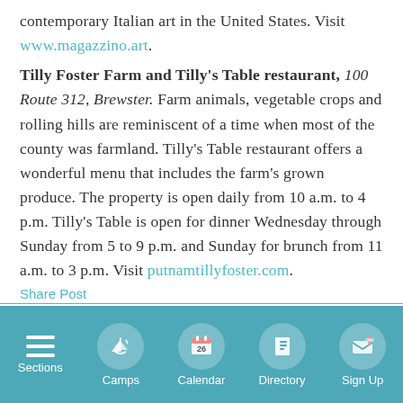contemporary Italian art in the United States. Visit www.magazzino.art.
Tilly Foster Farm and Tilly's Table restaurant, 100 Route 312, Brewster. Farm animals, vegetable crops and rolling hills are reminiscent of a time when most of the county was farmland. Tilly's Table restaurant offers a wonderful menu that includes the farm's grown produce. The property is open daily from 10 a.m. to 4 p.m. Tilly's Table is open for dinner Wednesday through Sunday from 5 to 9 p.m. and Sunday for brunch from 11 a.m. to 3 p.m. Visit putnamtillyfoster.com.
Share Post
Sections | Camps | Calendar | Directory | Sign Up